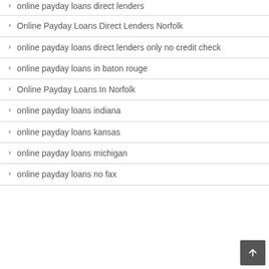online payday loans direct lenders
Online Payday Loans Direct Lenders Norfolk
online payday loans direct lenders only no credit check
online payday loans in baton rouge
Online Payday Loans In Norfolk
online payday loans indiana
online payday loans kansas
online payday loans michigan
online payday loans no fax